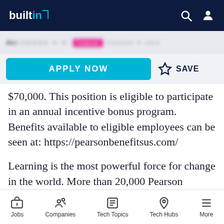builtin [logo]
$70,000. This position is eligible to participate in an annual incentive bonus program. Benefits available to eligible employees can be seen at: https://pearsonbenefitsus.com/
Learning is the most powerful force for change in the world. More than 20,000 Pearson employees deliver our products and services in nearly 200 countries, all working towards a common purpose – to
Jobs   Companies   Tech Topics   Tech Hubs   More